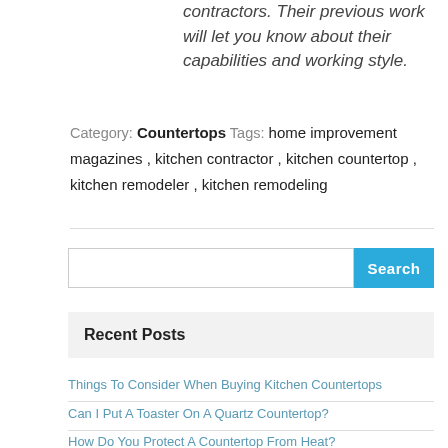contractors. Their previous work will let you know about their capabilities and working style.
Category: Countertops Tags: home improvement magazines , kitchen contractor , kitchen countertop , kitchen remodeler , kitchen remodeling
[Figure (screenshot): Search bar with text input field and blue Search button]
Recent Posts
Things To Consider When Buying Kitchen Countertops
Can I Put A Toaster On A Quartz Countertop?
How Do You Protect A Countertop From Heat?